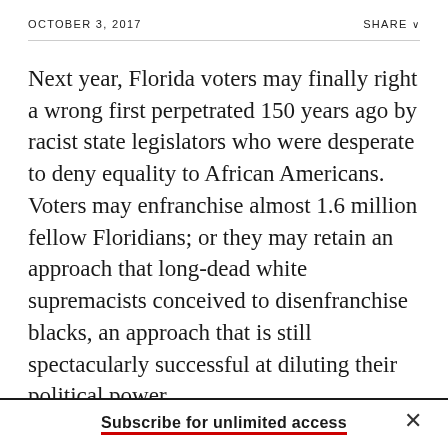OCTOBER 3, 2017    SHARE
Next year, Florida voters may finally right a wrong first perpetrated 150 years ago by racist state legislators who were desperate to deny equality to African Americans. Voters may enfranchise almost 1.6 million fellow Floridians; or they may retain an approach that long-dead white supremacists conceived to disenfranchise blacks, an approach that is still spectacularly successful at diluting their political power.
Subscribe for unlimited access